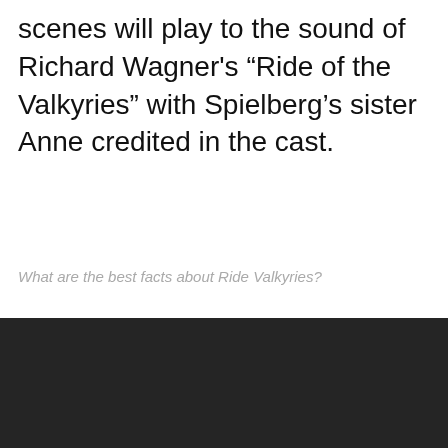scenes will play to the sound of Richard Wagner's “Ride of the Valkyries” with Spielberg’s sister Anne credited in the cast.
What are the best facts about Ride Valkyries?
[Figure (other): Dark background block at the bottom of the page]